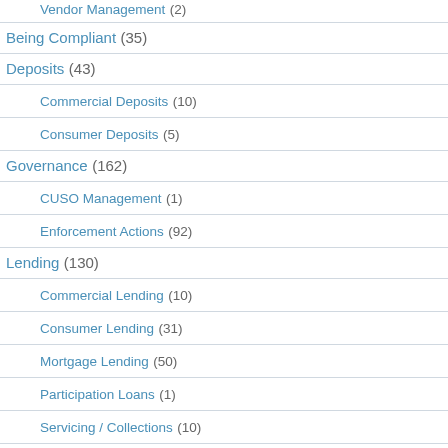Vendor Management (2)
Being Compliant (35)
Deposits (43)
Commercial Deposits (10)
Consumer Deposits (5)
Governance (162)
CUSO Management (1)
Enforcement Actions (92)
Lending (130)
Commercial Lending (10)
Consumer Lending (31)
Mortgage Lending (50)
Participation Loans (1)
Servicing / Collections (10)
NWCG News (3)